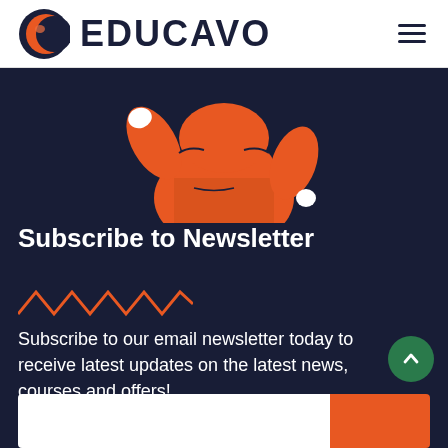[Figure (logo): Educavo logo with orange crescent/globe icon and dark navy EDUCAVO wordmark, with hamburger menu icon at right]
[Figure (illustration): Illustration of a person in an orange hoodie/jacket, upper body and arm visible, on dark navy background]
Subscribe to Newsletter
[Figure (other): Orange zigzag/chevron decorative line element]
Subscribe to our email newsletter today to receive latest updates on the latest news, courses and offers!
[Figure (other): Green circular scroll-to-top button with upward chevron arrow]
[Figure (other): Email subscription input bar with white text field and orange submit button, partially visible at bottom]